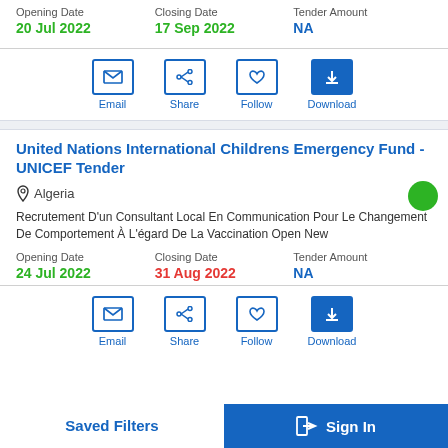| Opening Date | Closing Date | Tender Amount |
| --- | --- | --- |
| 20 Jul 2022 | 17 Sep 2022 | NA |
[Figure (infographic): Action buttons row: Email, Share, Follow, Download]
United Nations International Childrens Emergency Fund - UNICEF Tender
Algeria
Recrutement D'un Consultant Local En Communication Pour Le Changement De Comportement À L'égard De La Vaccination Open New
| Opening Date | Closing Date | Tender Amount |
| --- | --- | --- |
| 24 Jul 2022 | 31 Aug 2022 | NA |
[Figure (infographic): Action buttons row: Email, Share, Follow, Download]
Saved Filters
Sign In